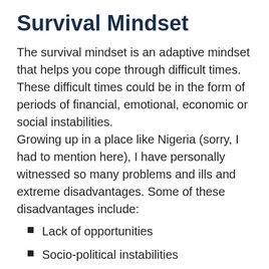Survival Mindset
The survival mindset is an adaptive mindset that helps you cope through difficult times. These difficult times could be in the form of periods of financial, emotional, economic or social instabilities. Growing up in a place like Nigeria (sorry, I had to mention here), I have personally witnessed so many problems and ills and extreme disadvantages. Some of these disadvantages include:
Lack of opportunities
Socio-political instabilities